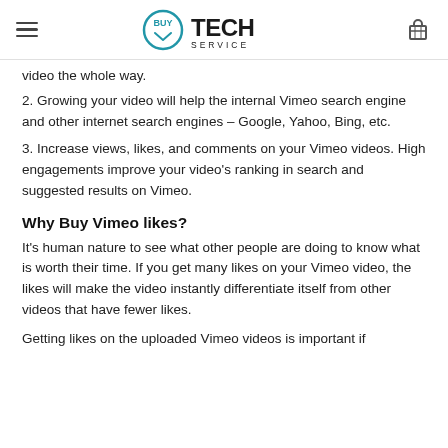BuyTechService
video the whole way.
2. Growing your video will help the internal Vimeo search engine and other internet search engines – Google, Yahoo, Bing, etc.
3. Increase views, likes, and comments on your Vimeo videos. High engagements improve your video's ranking in search and suggested results on Vimeo.
Why Buy Vimeo likes?
It's human nature to see what other people are doing to know what is worth their time. If you get many likes on your Vimeo video, the likes will make the video instantly differentiate itself from other videos that have fewer likes.
Getting likes on the uploaded Vimeo videos is important if